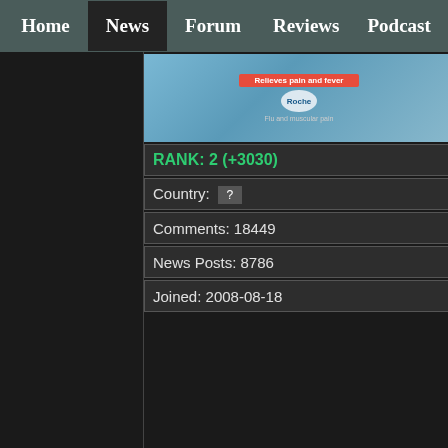Home | News | Forum | Reviews | Podcast
[Figure (photo): User avatar image showing a medicine/pill box packaging]
RANK: 2 (+3030)
Country: ?
Comments: 18449
News Posts: 8786
Joined: 2008-08-18
20:39UTC
Those Mario previews have me more excited for that game than I have been so far.
All the E3 hands-on were prett negative.  "You use the Wii remote in its NES-style orientation, 1 button to run, 2 button to jump." This is